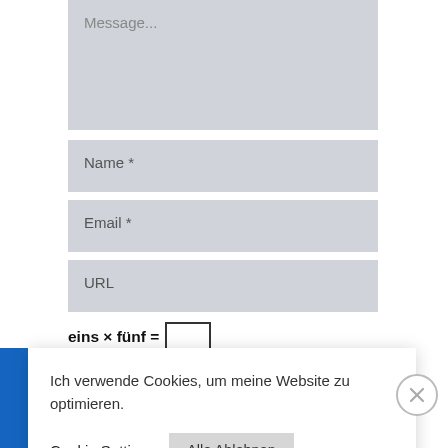[Figure (screenshot): Web form with fields: Message textarea, Name, Email, URL input fields, and a CAPTCHA math challenge 'eins × fünf = [input box]']
Ich verwende Cookies, um meine Website zu optimieren.
Cookie Settings
Alle Ablehnen
Alle Akzeptieren